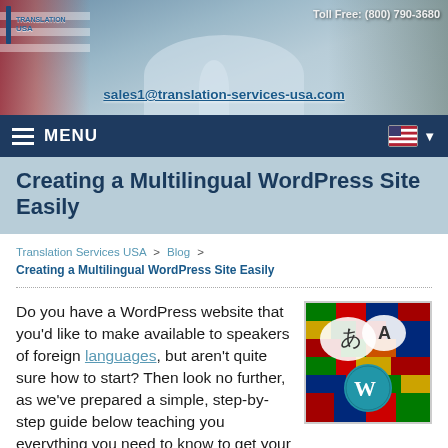[Figure (screenshot): Website header banner with US flag, Capitol building background, Translation Services USA logo, toll-free number, and email address]
Toll Free: (800) 790-3680 | sales1@translation-services-usa.com
MENU
Creating a Multilingual WordPress Site Easily
Translation Services USA > Blog > Creating a Multilingual WordPress Site Easily
Do you have a WordPress website that you'd like to make available to speakers of foreign languages, but aren't quite sure how to start? Then look no further, as we've prepared a simple, step-by-step guide below teaching you everything you need to know to get your site translated quickly and easily, with no coding required!
[Figure (illustration): Colorful flags montage background with speech bubbles containing Japanese (あ) and Latin (A) characters, and a WordPress logo circle]
And best of all, using the method below, you can